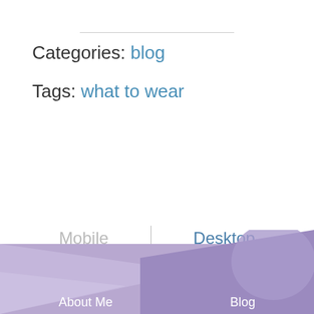Categories: blog
Tags: what to wear
Mobile | Desktop
About Me   Blog